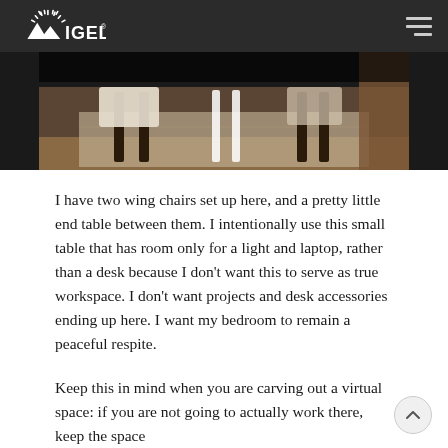IGEL
[Figure (photo): Indoor photo showing furniture legs of wing chairs and an end table on a patterned rug, viewed from below]
I have two wing chairs set up here, and a pretty little end table between them. I intentionally use this small table that has room only for a light and laptop, rather than a desk because I don't want this to serve as true workspace. I don't want projects and desk accessories ending up here. I want my bedroom to remain a peaceful respite.
Keep this in mind when you are carving out a virtual space: if you are not going to actually work there, keep the space